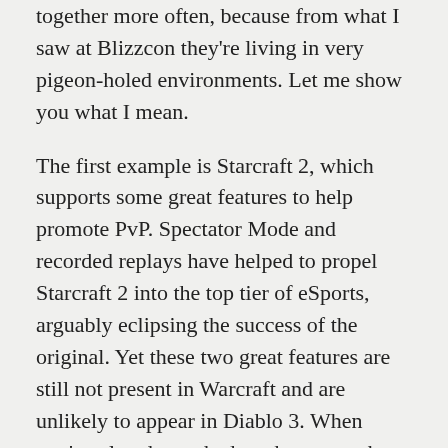together more often, because from what I saw at Blizzcon they're living in very pigeon-holed environments. Let me show you what I mean.
The first example is Starcraft 2, which supports some great features to help promote PvP. Spectator Mode and recorded replays have helped to propel Starcraft 2 into the top tier of eSports, arguably eclipsing the success of the original. Yet these two great features are still not present in Warcraft and are unlikely to appear in Diablo 3. When you've already worked out how to make these things work, why not share the love with all your games?
The other area is in web APIs. The Web and Mobile team have released a bucketload of interfaces for third party tools like the Undermine Journal and Ask Mr Robot to just plug in and mine Warcraft for